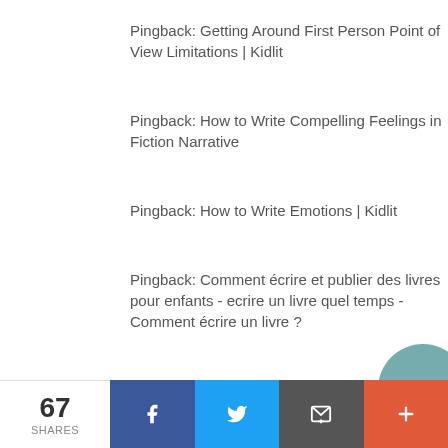Pingback: Getting Around First Person Point of View Limitations | Kidlit
Pingback: How to Write Compelling Feelings in Fiction Narrative
Pingback: How to Write Emotions | Kidlit
Pingback: Comment écrire et publier des livres pour enfants - ecrire un livre quel temps - Comment écrire un livre ?
67 SHARES | Facebook | Twitter | Email | More